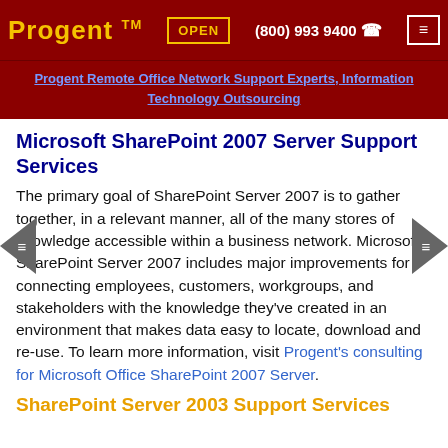Progent™  OPEN  (800) 993 9400  ☎  ≡
Progent Remote Office Network Support Experts, Information Technology Outsourcing
Microsoft SharePoint 2007 Server Support Services
The primary goal of SharePoint Server 2007 is to gather together, in a relevant manner, all of the many stores of knowledge accessible within a business network. Microsoft SharePoint Server 2007 includes major improvements for connecting employees, customers, workgroups, and stakeholders with the knowledge they've created in an environment that makes data easy to locate, download and re-use. To learn more information, visit Progent's consulting for Microsoft Office SharePoint 2007 Server.
SharePoint Server 2003 Support Services